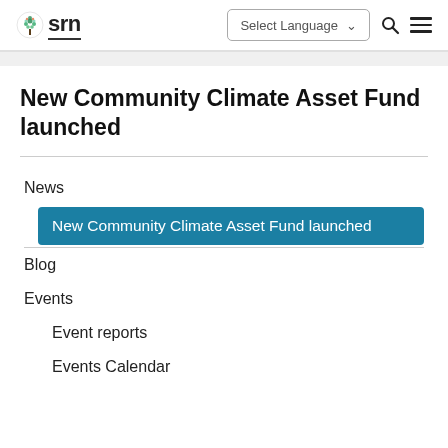srn | Select Language | Search | Menu
New Community Climate Asset Fund launched
News
New Community Climate Asset Fund launched
Blog
Events
Event reports
Events Calendar